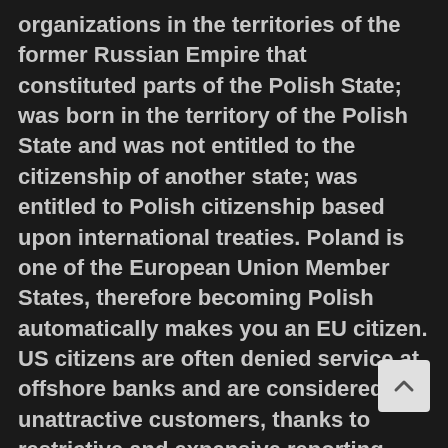organizations in the territories of the former Russian Empire that constituted parts of the Polish State; was born in the territory of the Polish State and was not entitled to the citizenship of another state; was entitled to Polish citizenship based upon international treaties. Poland is one of the European Union Member States, therefore becoming Polish automatically makes you an EU citizen. US citizens are often denied service at offshore banks and are considered unattractive customers, thanks to restrictive and expensive reporting requirements that occur when dealing with Americans. Below, you will find all the information regarding becoming a Polish citizen. Easiest Countries To Get Citizenship In Europe. Start businesses, get EU financing and investment incentives in 28 EU countries. Thus, if you or one of your ancestors had been a Polish citizen, you